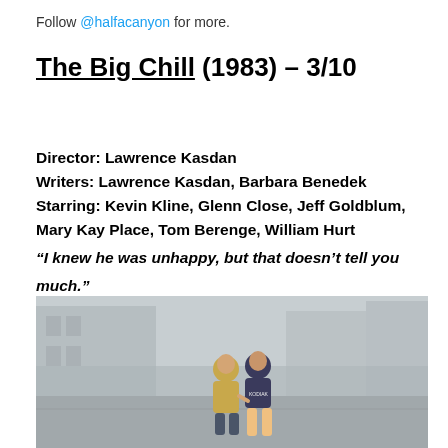Follow @halfacanyon for more.
The Big Chill (1983) – 3/10
Director: Lawrence Kasdan
Writers: Lawrence Kasdan, Barbara Benedek
Starring: Kevin Kline, Glenn Close, Jeff Goldblum, Mary Kay Place, Tom Berenge, William Hurt
"I knew he was unhappy, but that doesn't tell you much."
[Figure (photo): Film still from The Big Chill showing two people walking together on a misty street]